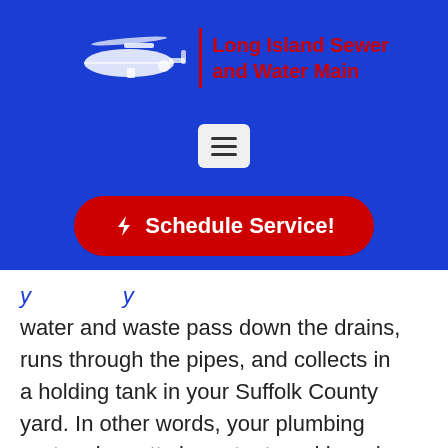[Figure (logo): Long Island Sewer and Water Main company logo with helicopter image and red company name text on blue background]
[Figure (screenshot): Hamburger menu button (three horizontal lines) in a light gray rounded square]
[Figure (screenshot): Red rounded button with lightning bolt icon and text 'Schedule Service!']
water and waste pass down the drains, runs through the pipes, and collects in a holding tank in your Suffolk County yard. In other words, your plumbing system is pretty important, and in order to keep it in tip-top shape and prevent blockages and backups, routine maintenance is an absolute must, and